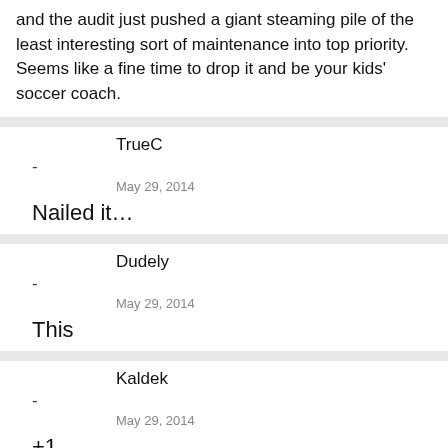and the audit just pushed a giant steaming pile of the least interesting sort of maintenance into top priority. Seems like a fine time to drop it and be your kids' soccer coach.
TrueC
-
May 29, 2014
Nailed it…
Dudely
-
May 29, 2014
This
Kaldek
-
May 29, 2014
+1
Carefull, Bill. People will start to suggest that you're the anonymous TC developer because